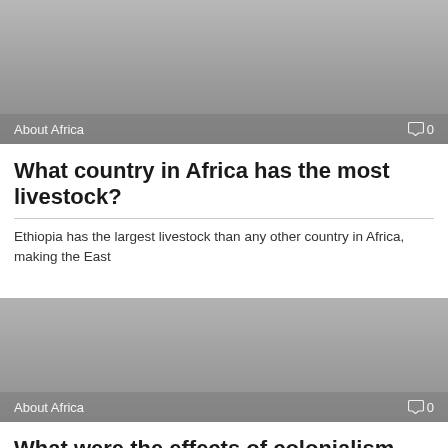[Figure (photo): Grey placeholder image for article about Africa livestock]
About Africa   0
What country in Africa has the most livestock?
Ethiopia has the largest livestock than any other country in Africa, making the East
[Figure (photo): Grey placeholder image for article about colonialism in Africa]
About Africa   0
What were the effects of colonialism in Africa ill...